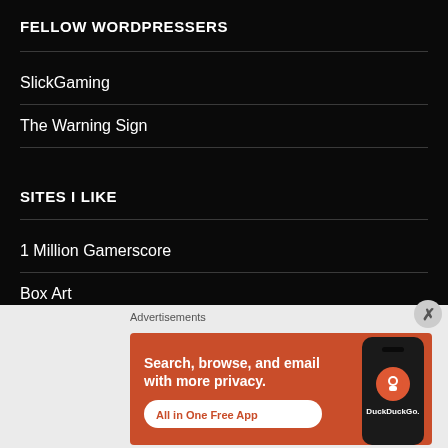FELLOW WORDPRESSERS
SlickGaming
The Warning Sign
SITES I LIKE
1 Million Gamerscore
Box Art
[Figure (screenshot): DuckDuckGo advertisement banner: orange background with text 'Search, browse, and email with more privacy. All in One Free App' and a phone mockup showing DuckDuckGo logo on the right. Label 'Advertisements' above.]